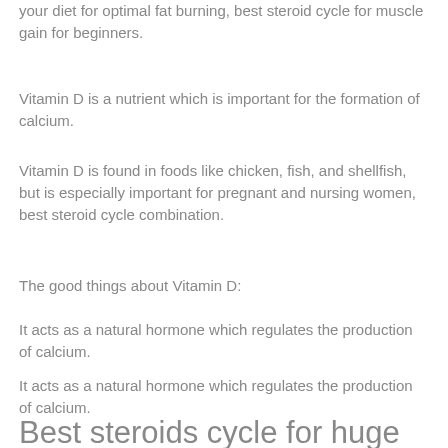your diet for optimal fat burning, best steroid cycle for muscle gain for beginners.
Vitamin D is a nutrient which is important for the formation of calcium.
Vitamin D is found in foods like chicken, fish, and shellfish, but is especially important for pregnant and nursing women, best steroid cycle combination.
The good things about Vitamin D:
It acts as a natural hormone which regulates the production of calcium.
It acts as a natural hormone which regulates the production of calcium.
Best steroids cycle for huge size